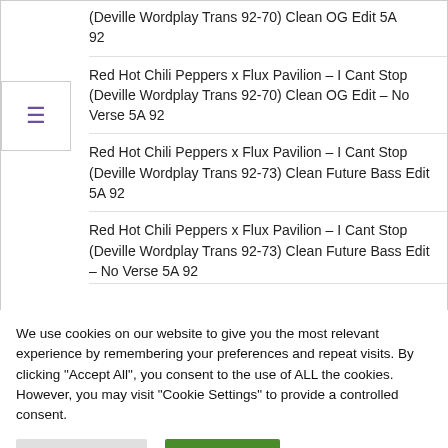(Deville Wordplay Trans 92-70) Clean OG Edit 5A 92
Red Hot Chili Peppers x Flux Pavilion – I Cant Stop (Deville Wordplay Trans 92-70) Clean OG Edit – No Verse 5A 92
Red Hot Chili Peppers x Flux Pavilion – I Cant Stop (Deville Wordplay Trans 92-73) Clean Future Bass Edit 5A 92
Red Hot Chili Peppers x Flux Pavilion – I Cant Stop (Deville Wordplay Trans 92-73) Clean Future Bass Edit – No Verse 5A 92
We use cookies on our website to give you the most relevant experience by remembering your preferences and repeat visits. By clicking "Accept All", you consent to the use of ALL the cookies. However, you may visit "Cookie Settings" to provide a controlled consent.